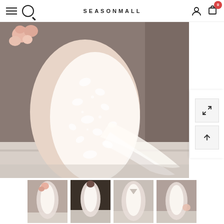SEASONMALL — navigation with hamburger menu, search, user icon, cart (0)
[Figure (photo): Close-up back view of a bridal gown with lace overlay train and floral background on left]
[Figure (photo): Thumbnail 1: Front view of bride in lace A-line wedding dress holding bouquet]
[Figure (photo): Thumbnail 2: Front view of bride in lace wedding dress against dark wall]
[Figure (photo): Thumbnail 3: Back view of bride in lace dress with open V-back]
[Figure (photo): Thumbnail 4: Back view of bride in lace dress holding bouquet]